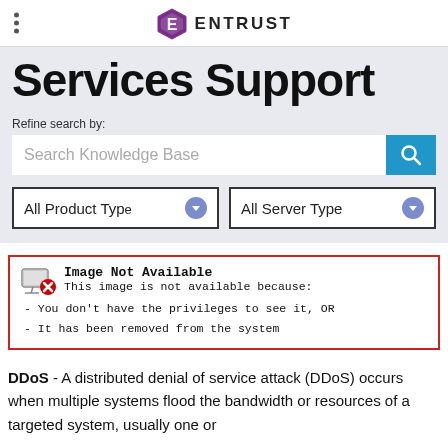ENTRUST
Services Support
Refine search by:
Search Knowledge Base
All Product Type  ▾    All Server Type  ▾
[Figure (screenshot): Image Not Available box with red border. Shows icon and text: 'Image Not Available. This image is not available because: - You don't have the privileges to see it, OR - It has been removed from the system']
DDoS - A distributed denial of service attack (DDoS) occurs when multiple systems flood the bandwidth or resources of a targeted system, usually one or